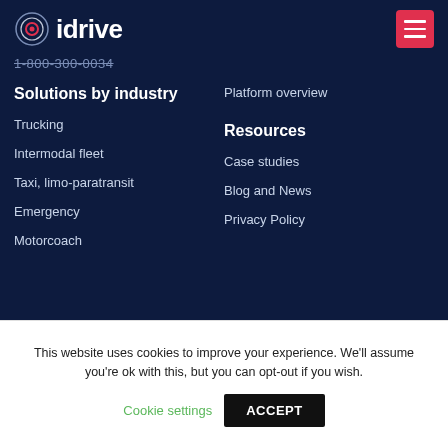idrive
1-800-300-0034
Solutions by industry
Resources
Trucking
Platform overview
Intermodal fleet
Case studies
Taxi, limo-paratransit
Blog and News
Emergency
Privacy Policy
Motorcoach
This website uses cookies to improve your experience. We'll assume you're ok with this, but you can opt-out if you wish.
Cookie settings
ACCEPT